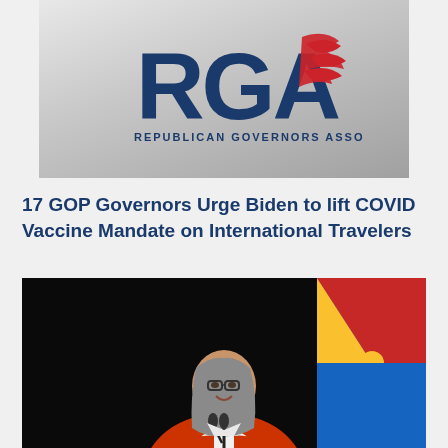[Figure (logo): RGA Republican Governors Association logo on gray gradient background]
17 GOP Governors Urge Biden to lift COVID Vaccine Mandate on International Travelers
[Figure (photo): Woman with glasses and shoulder-length gray hair wearing an orange blazer, standing at a podium with microphones, Arizona state flag visible in background]